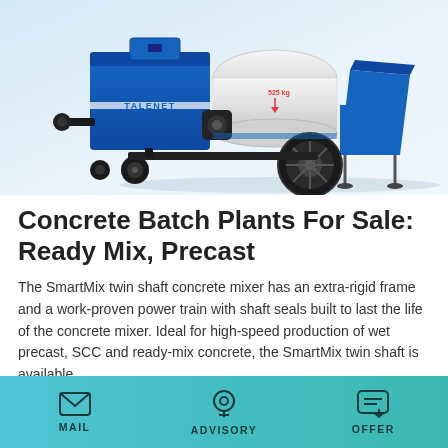[Figure (photo): Blue TALENET-branded concrete mixer/pump machine on white background, with white cylindrical tank and large rubber wheel]
Concrete Batch Plants For Sale: Ready Mix, Precast
The SmartMix twin shaft concrete mixer has an extra-rigid frame and a work-proven power train with shaft seals built to last the life of the concrete mixer. Ideal for high-speed production of wet precast, SCC and ready-mix concrete, the SmartMix twin shaft is available …
Learn More
MAIL   ADVISORY   OFFER